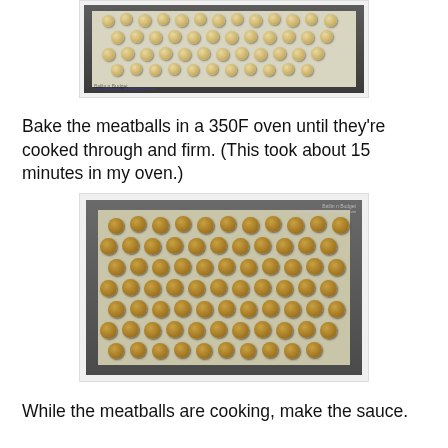[Figure (photo): Raw meatballs arranged in rows on a parchment-lined baking tray, viewed from above]
Bake the meatballs in a 350F oven until they’re cooked through and firm.  (This took about 15 minutes in my oven.)
[Figure (photo): Cooked/browned meatballs arranged in rows on a parchment-lined baking tray, viewed from above]
While the meatballs are cooking, make the sauce.